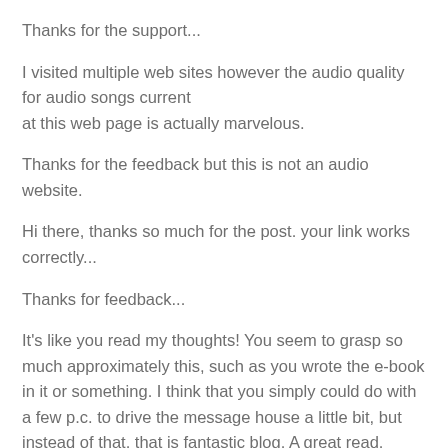Thanks for the support...
I visited multiple web sites however the audio quality for audio songs current at this web page is actually marvelous.
Thanks for the feedback but this is not an audio website.
Hi there, thanks so much for the post. your link works correctly...
Thanks for feedback...
It's like you read my thoughts! You seem to grasp so much approximately this, such as you wrote the e-book in it or something. I think that you simply could do with a few p.c. to drive the message house a little bit, but instead of that, that is fantastic blog. A great read. I will definitely be back.